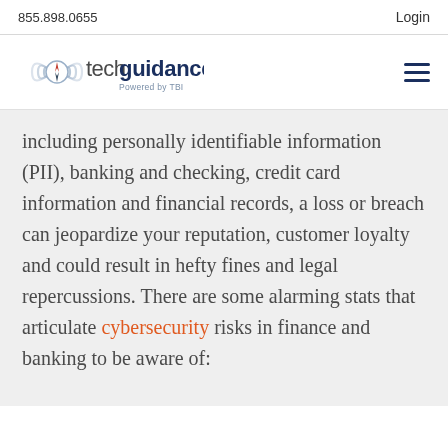855.898.0655   Login
[Figure (logo): Tech Guidance logo — compass icon with radio waves, text reads 'tech guidance Powered by TBI']
including personally identifiable information (PII), banking and checking, credit card information and financial records, a loss or breach can jeopardize your reputation, customer loyalty and could result in hefty fines and legal repercussions. There are some alarming stats that articulate cybersecurity risks in finance and banking to be aware of: